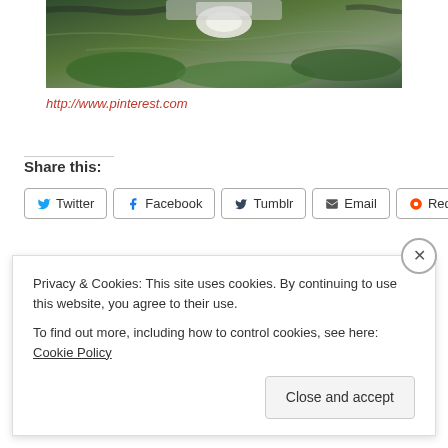[Figure (photo): Partial photo of a flower reflected in water with green lily pads, white flower visible, abstract water reflection]
http://www.pinterest.com
Share this:
Twitter | Facebook | Tumblr | Email | Reddit
Loading...
QUOTE OF THE DAY
Privacy & Cookies: This site uses cookies. By continuing to use this website, you agree to their use. To find out more, including how to control cookies, see here: Cookie Policy
Close and accept